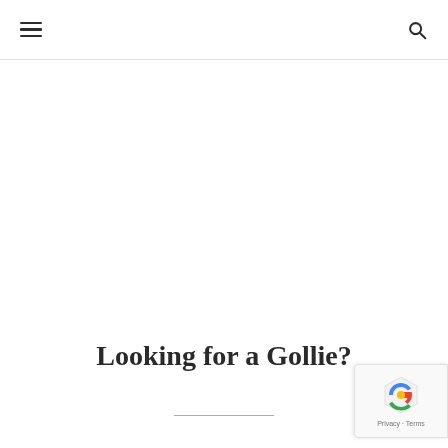Navigation header with hamburger menu and search icon
Looking for a Gollie?